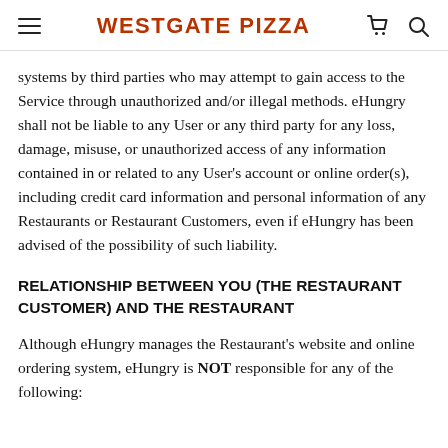WESTGATE PIZZA
systems by third parties who may attempt to gain access to the Service through unauthorized and/or illegal methods. eHungry shall not be liable to any User or any third party for any loss, damage, misuse, or unauthorized access of any information contained in or related to any User’s account or online order(s), including credit card information and personal information of any Restaurants or Restaurant Customers, even if eHungry has been advised of the possibility of such liability.
RELATIONSHIP BETWEEN YOU (THE RESTAURANT CUSTOMER) AND THE RESTAURANT
Although eHungry manages the Restaurant’s website and online ordering system, eHungry is NOT responsible for any of the following: